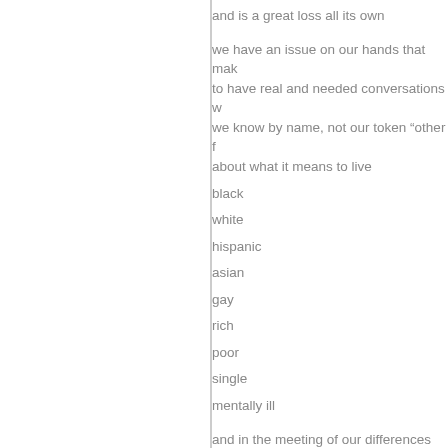and is a great loss all its own
we have an issue on our hands that mak
to have real and needed conversations w
we know by name, not our token “other f
about what it means to live
black
white
hispanic
asian
gay
rich
poor
single
mentally ill
and in the meeting of our differences
we might find the answers that could lea
from violence and hip-shooting ignorant 
to the deep and horrifying and necessary
about what it means to work toward